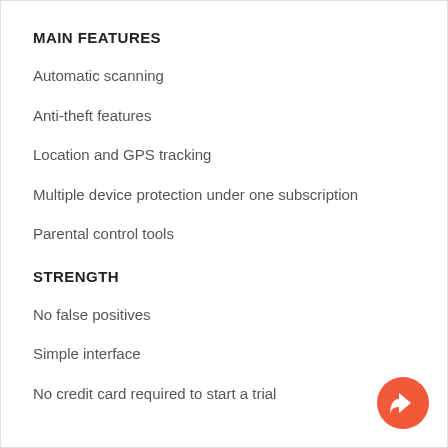MAIN FEATURES
Automatic scanning
Anti-theft features
Location and GPS tracking
Multiple device protection under one subscription
Parental control tools
STRENGTH
No false positives
Simple interface
No credit card required to start a trial
[Figure (illustration): Orange circular share/forward button in the bottom-right corner]